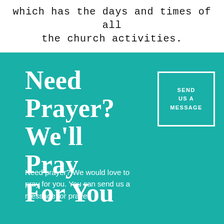which has the days and times of all the church activities.
Need Prayer? We'll Pray For You
[Figure (other): White outlined square button with text 'SEND US A MESSAGE' on teal background]
Need prayer? We would love to pray for you. You can send us a message for prayer.